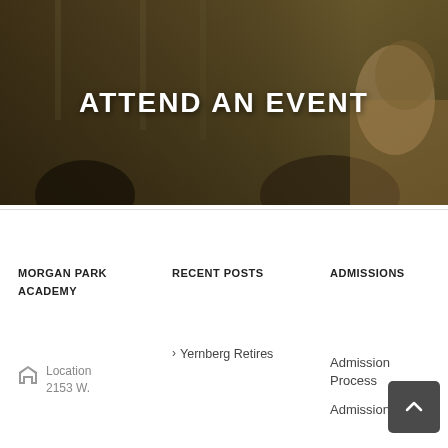[Figure (photo): Dark-toned hero image of people at an event, with a woman visible on the right side, overlaid with the text ATTEND AN EVENT]
ATTEND AN EVENT
MORGAN PARK ACADEMY
Location 2153 W.
RECENT POSTS
Yernberg Retires
ADMISSIONS
Admission Process
Admission